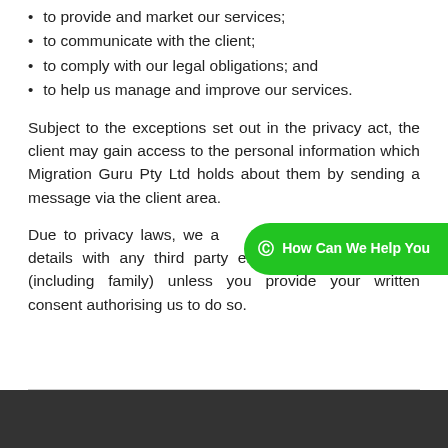to provide and market our services;
to communicate with the client;
to comply with our legal obligations; and
to help us manage and improve our services.
Subject to the exceptions set out in the privacy act, the client may gain access to the personal information which Migration Guru Pty Ltd holds about them by sending a message via the client area.
Due to privacy laws, we are unable to share personal details with any third party enquiring on your behalf (including family) unless you provide your written consent authorising us to do so.
[Figure (other): WhatsApp chat button with text 'How Can We Help You']